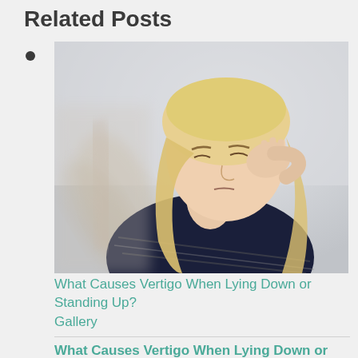Related Posts
[Figure (photo): A blonde woman with eyes closed, hand raised to her temple, appearing dizzy or experiencing vertigo, with motion blur effect]
What Causes Vertigo When Lying Down or Standing Up?
Gallery
What Causes Vertigo When Lying Down or